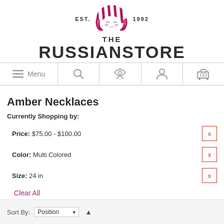[Figure (logo): The Russian Store logo with matryoshka doll face, EST. 1992 text, and store name]
Menu | Search | RSS | Account | Cart navigation bar
Amber Necklaces
Currently Shopping by:
Price: $75.00 - $100.00  x
Color: Multi Colored  x
Size: 24 in  x
Clear All
▶ Filter
Sort By: Position ▲